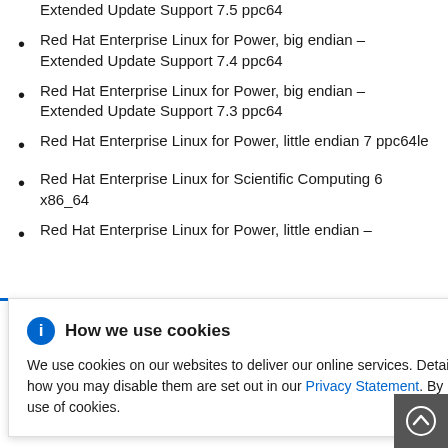Red Hat Enterprise Linux for Power, big endian - Extended Update Support 7.5 ppc64
Red Hat Enterprise Linux for Power, big endian - Extended Update Support 7.4 ppc64
Red Hat Enterprise Linux for Power, big endian - Extended Update Support 7.3 ppc64
Red Hat Enterprise Linux for Power, little endian 7 ppc64le
Red Hat Enterprise Linux for Scientific Computing 6 x86_64
Red Hat Enterprise Linux for Power, little endian -
How we use cookies

We use cookies on our websites to deliver our online services. Details about how we use cookies and how you may disable them are set out in our Privacy Statement. By using this website you agree to our use of cookies.
le endian -
le endian -
le endian -
le endian - Extended Update Support 7.3 ppc64le